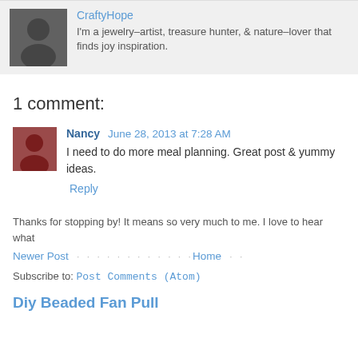CraftyHope
I'm a jewelry-artist, treasure hunter, & nature-lover that finds joy inspiration.
1 comment:
Nancy June 28, 2013 at 7:28 AM
I need to do more meal planning. Great post & yummy ideas.
Reply
Thanks for stopping by! It means so very much to me. I love to hear what
Newer Post · · · · · · · · · · · · · · · Home · ·
Subscribe to: Post Comments (Atom)
Diy Beaded Fan Pull